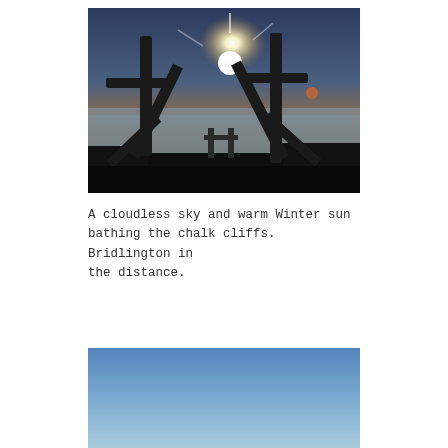[Figure (photo): Sunset or sunrise over the sea viewed through wooden cross-shaped structures silhouetted against a bright glowing sun in a dusky sky, with ocean and horizon in the background.]
A cloudless sky and warm Winter sun bathing the chalk cliffs. Bridlington in the distance.
[Figure (photo): Clear blue sky, gradient from darker blue at top to lighter near bottom, partial photo of outdoor scene.]